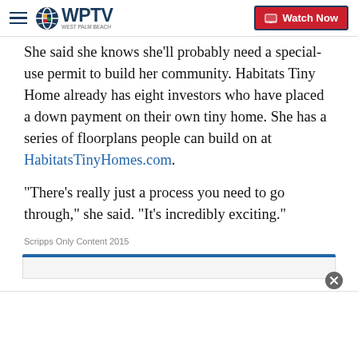WPTV West Palm Beach — Watch Now
She said she knows she'll probably need a special-use permit to build her community. Habitats Tiny Home already has eight investors who have placed a down payment on their own tiny home. She has a series of floorplans people can build on at HabitatsTinyHomes.com.
"There's really just a process you need to go through," she said. "It's incredibly exciting."
Scripps Only Content 2015